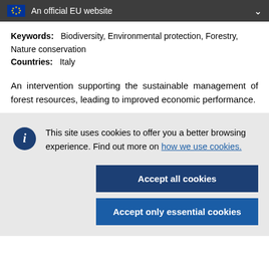An official EU website
Keywords: Biodiversity, Environmental protection, Forestry, Nature conservation
Countries: Italy
An intervention supporting the sustainable management of forest resources, leading to improved economic performance.
This site uses cookies to offer you a better browsing experience. Find out more on how we use cookies.